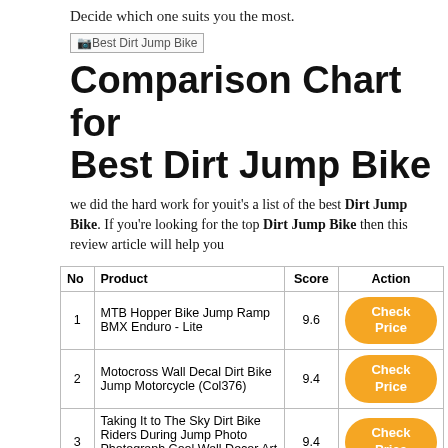Decide which one suits you the most.
[Figure (photo): Broken image placeholder labeled 'Best Dirt Jump Bike']
Comparison Chart for Best Dirt Jump Bike
we did the hard work for youit's a list of the best Dirt Jump Bike. If you're looking for the top Dirt Jump Bike then this review article will help you
| No | Product | Score | Action |
| --- | --- | --- | --- |
| 1 | MTB Hopper Bike Jump Ramp BMX Enduro - Lite | 9.6 | Check Price |
| 2 | Motocross Wall Decal Dirt Bike Jump Motorcycle (Col376) | 9.4 | Check Price |
| 3 | Taking It to The Sky Dirt Bike Riders During Jump Photo Photograph Cool Wall Decor Art Print Poster 16x16 - | 9.4 | Check Price |